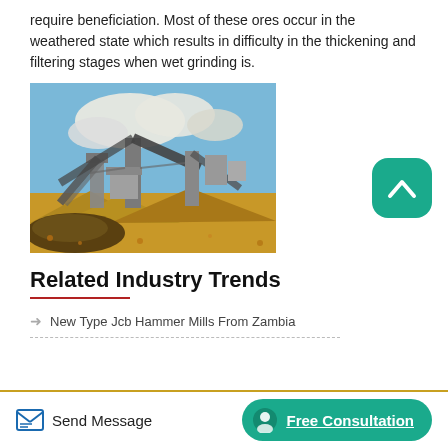require beneficiation. Most of these ores occur in the weathered state which results in difficulty in the thickening and filtering stages when wet grinding is.
[Figure (photo): Mining/ore processing facility with conveyor belts and machinery under a partly cloudy blue sky, with piles of ore/gravel in the foreground.]
Related Industry Trends
New Type Jcb Hammer Mills From Zambia
Send Message   Free Consultation